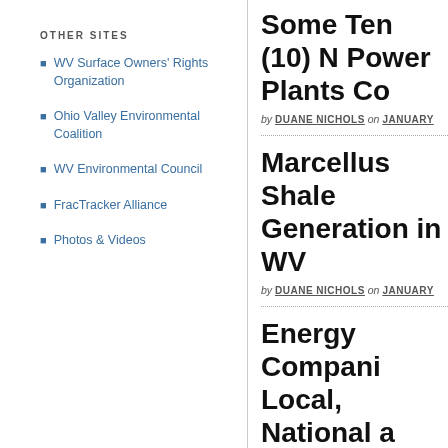OTHER SITES
WV Surface Owners' Rights Organization
Ohio Valley Environmental Coalition
WV Environmental Council
FracTracker Alliance
Photos & Videos
Some Ten (10) N… Power Plants Co…
by DUANE NICHOLS on JANUARY…
Marcellus Shale … Generation in WV…
by DUANE NICHOLS on JANUARY…
Energy Compani… Local, National a…
by S. TOM BOND on JANUARY 10…
Climate Change … Heating the Ocea…